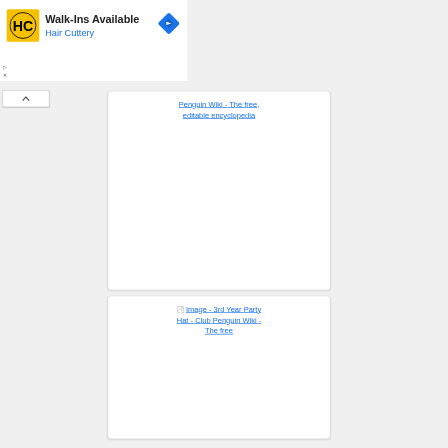[Figure (screenshot): Hair Cuttery advertisement banner with yellow HC logo, 'Walk-Ins Available' heading, 'Hair Cuttery' subtitle in blue, and a blue navigation/directions diamond icon on the right. Small play and close (X) controls at bottom left.]
[Figure (screenshot): Scroll-up chevron button (^) in a rounded rectangle box]
Penguin Wiki - The free, editable encyclopedia
Image - 3rd Year Party Hat - Club Penguin Wiki - The free